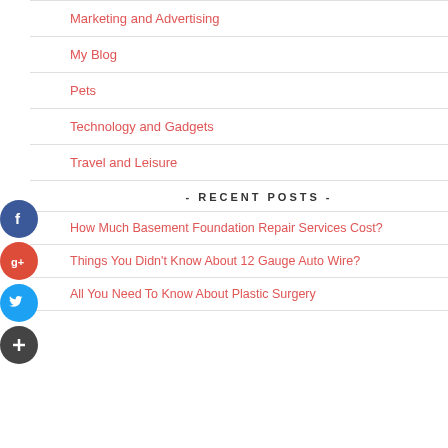Marketing and Advertising
My Blog
Pets
Technology and Gadgets
Travel and Leisure
- RECENT POSTS -
How Much Basement Foundation Repair Services Cost?
Things You Didn't Know About 12 Gauge Auto Wire?
All You Need To Know About Plastic Surgery